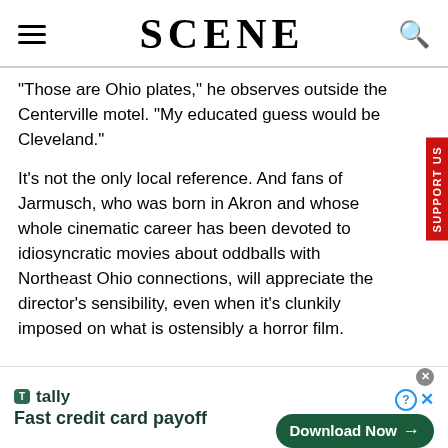SCENE
"Those are Ohio plates," he observes outside the Centerville motel. "My educated guess would be Cleveland."
It's not the only local reference. And fans of Jarmusch, who was born in Akron and whose whole cinematic career has been devoted to idiosyncratic movies about oddballs with Northeast Ohio connections, will appreciate the director's sensibility, even when it's clunkily imposed on what is ostensibly a horror film.
[Figure (screenshot): Tally advertisement banner: 'Fast credit card payoff' with Download Now button]